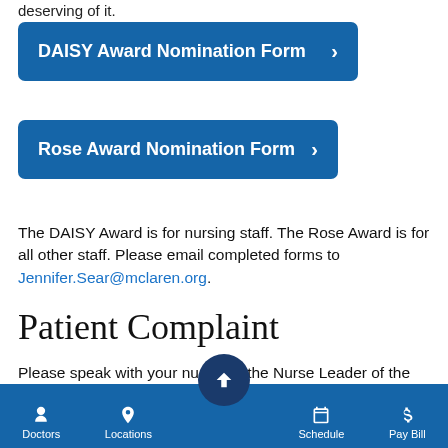deserving of it.
DAISY Award Nomination Form >
Rose Award Nomination Form >
The DAISY Award is for nursing staff. The Rose Award is for all other staff. Please email completed forms to Jennifer.Sear@mclaren.org.
Patient Complaint
Please speak with your nurse, or the Nurse Leader of the nursing unit you are on, if you have any questions or concerns about your care. If your issue is still not resolved,
Doctors | Locations | Back to Top | Schedule | Pay Bill